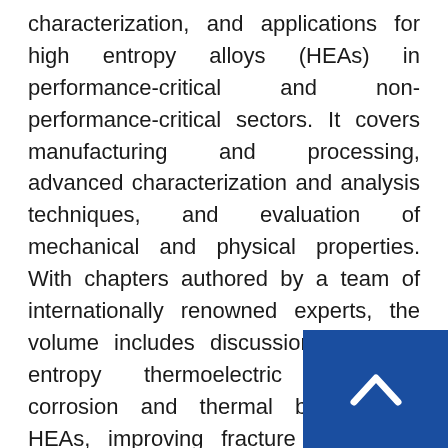characterization, and applications for high entropy alloys (HEAs) in performance-critical and non-performance-critical sectors. It covers manufacturing and processing, advanced characterization and analysis techniques, and evaluation of mechanical and physical properties. With chapters authored by a team of internationally renowned experts, the volume includes discussions on high entropy thermoelectric materials, corrosion and thermal behavior of HEAs, improving fracture resistance, fatigue properties and high tensile strength of HEAs, HEA films, and more. This work will be of interest to academics, scientists, engineers, technologists, and entrepreneurs working in the field of materials
[Figure (other): Blue square back-to-top button with white upward chevron arrow in bottom-right corner]